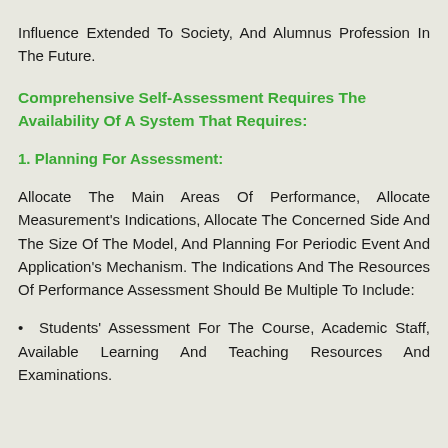Influence Extended To Society, And Alumnus Profession In The Future.
Comprehensive Self-Assessment Requires The Availability Of A System That Requires:
1. Planning For Assessment:
Allocate The Main Areas Of Performance, Allocate Measurement's Indications, Allocate The Concerned Side And The Size Of The Model, And Planning For Periodic Event And Application's Mechanism. The Indications And The Resources Of Performance Assessment Should Be Multiple To Include:
• Students' Assessment For The Course, Academic Staff, Available Learning And Teaching Resources And Examinations.